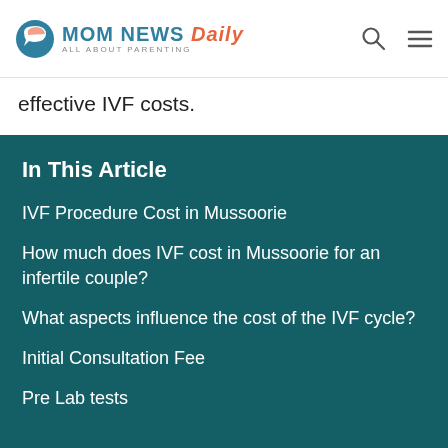MOM NEWS Daily — ALL ABOUT PARENTING
effective IVF costs.
In This Article
IVF Procedure Cost in Mussoorie
How much does IVF cost in Mussoorie for an infertile couple?
What aspects influence the cost of the IVF cycle?
Initial Consultation Fee
Pre Lab tests